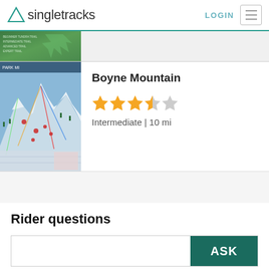singletracks  LOGIN
[Figure (photo): Partial view of a green trail map sign]
[Figure (photo): Ski trail map photo showing mountain runs and lifts]
Boyne Mountain
Intermediate | 10 mi
Rider questions
ASK